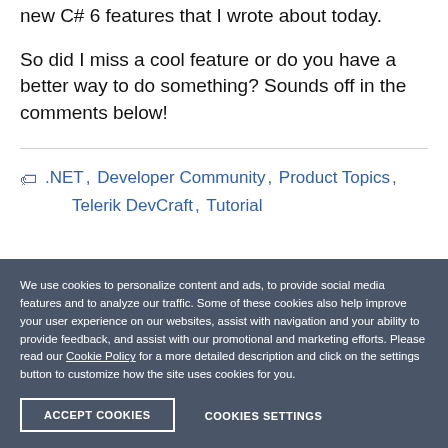new C# 6 features that I wrote about today.
So did I miss a cool feature or do you have a better way to do something? Sounds off in the comments below!
.NET, Developer Community, Product Topics, Telerik DevCraft, Tutorial
We use cookies to personalize content and ads, to provide social media features and to analyze our traffic. Some of these cookies also help improve your user experience on our websites, assist with navigation and your ability to provide feedback, and assist with our promotional and marketing efforts. Please read our Cookie Policy for a more detailed description and click on the settings button to customize how the site uses cookies for you.
ACCEPT COOKIES
COOKIES SETTINGS